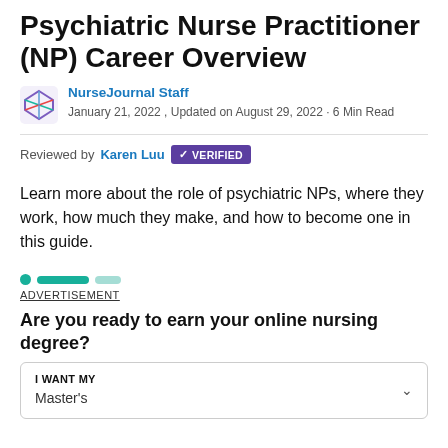Psychiatric Nurse Practitioner (NP) Career Overview
NurseJournal Staff
January 21, 2022, Updated on August 29, 2022 · 6 Min Read
Reviewed by Karen Luu VERIFIED
Learn more about the role of psychiatric NPs, where they work, how much they make, and how to become one in this guide.
ADVERTISEMENT
Are you ready to earn your online nursing degree?
| I WANT MY |
| --- |
| Master's |